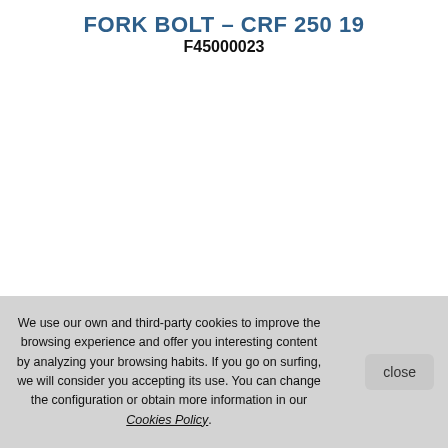FORK BOLT – CRF 250 19
F45000023
We use our own and third-party cookies to improve the browsing experience and offer you interesting content by analyzing your browsing habits. If you go on surfing, we will consider you accepting its use. You can change the configuration or obtain more information in our Cookies Policy.